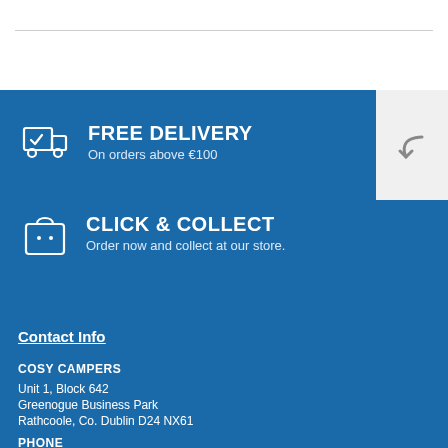[Figure (infographic): Free delivery icon with delivery truck and checkmark on blue background]
FREE DELIVERY
On orders above €100
[Figure (infographic): Click and collect icon with shopping bag on blue background]
CLICK & COLLECT
Order now and collect at our store.
Contact Info
COSY CAMPERS
Unit 1, Block 642
Greenogue Business Park
Rathcoole, Co. Dublin D24 NX61
PHONE